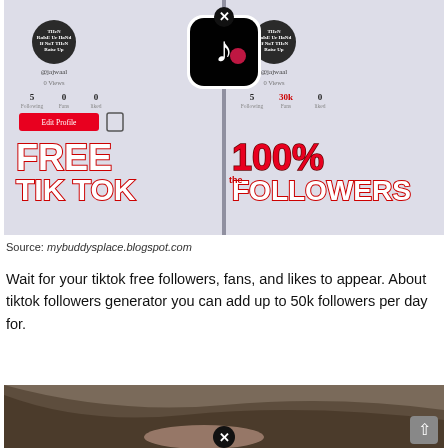[Figure (infographic): TikTok promotional image showing two phone screens side by side. Left phone shows a TikTok profile with 5 followers, 0 fans, 0 liked. Right phone shows same profile but with 30k fans. TikTok app icon with X close button is centered at the top. Bold white and red text reads FREE TIK TOK on the left and 100% FOLLOWERS on the right.]
Source: mybuddysplace.blogspot.com
Wait for your tiktok free followers, fans, and likes to appear. About tiktok followers generator you can add up to 50k followers per day for.
[Figure (photo): Partial image at the bottom of the page showing what appears to be a person's hair, with a circular X close button centered at the bottom of the image. A scroll-to-top button is visible in the bottom right corner.]